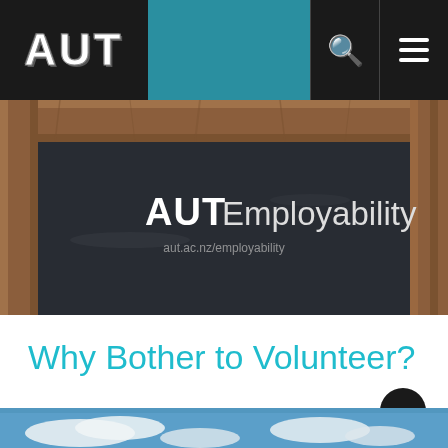AUT
[Figure (photo): A chalkboard with wooden frame displaying 'AUT Employability' text in white lettering, with a URL below it]
Why Bother to Volunteer?
[Figure (photo): Partial view of a blue sky with clouds at the bottom of the page]